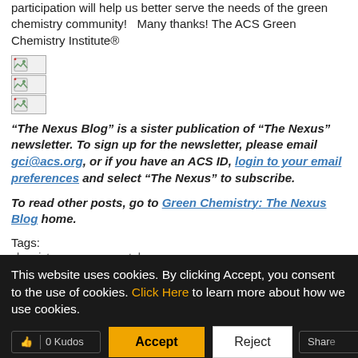participation will help us better serve the needs of the green chemistry community!  Many thanks! The ACS Green Chemistry Institute®
[Figure (illustration): Three broken/missing image icons stacked vertically]
“The Nexus Blog” is a sister publication of “The Nexus” newsletter. To sign up for the newsletter, please email gci@acs.org, or if you have an ACS ID, login to your email preferences and select “The Nexus” to subscribe.
To read other posts, go to Green Chemistry: The Nexus Blog home.
Tags:
chemistry   green   portal   survey
This website uses cookies. By clicking Accept, you consent to the use of cookies. Click Here to learn more about how we use cookies.